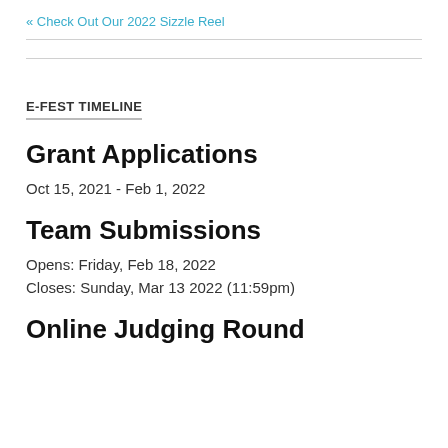« Check Out Our 2022 Sizzle Reel
E-FEST TIMELINE
Grant Applications
Oct 15, 2021 - Feb 1, 2022
Team Submissions
Opens: Friday, Feb 18, 2022
Closes: Sunday, Mar 13 2022 (11:59pm)
Online Judging Round